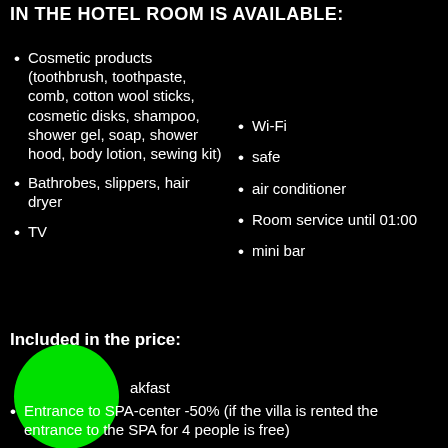IN THE HOTEL ROOM IS AVAILABLE:
Cosmetic products (toothbrush, toothpaste, comb, cotton wool sticks, cosmetic disks, shampoo, shower gel, soap, shower hood, body lotion, sewing kit)
Bathrobes, slippers, hair dryer
TV
Wi-Fi
safe
air conditioner
Room service until 01:00
mini bar
Included in the price:
Breakfast
Entrance to SPA-center -50% (if the villa is rented the entrance to the SPA for 4 people is free)